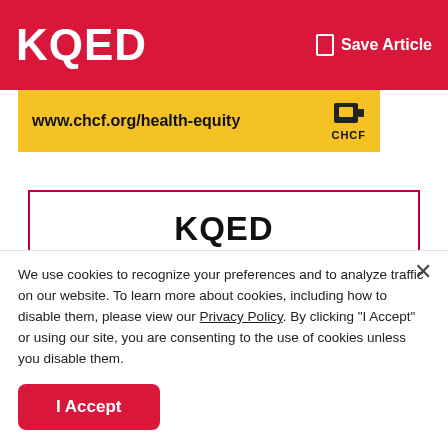KQED
[Figure (logo): CHCF advertisement banner with URL www.chcf.org/health-equity and CHCF logo]
KQED
Stay in touch. Sign up for our daily newsletter
We use cookies to recognize your preferences and to analyze traffic on our website. To learn more about cookies, including how to disable them, please view our Privacy Policy. By clicking "I Accept" or using our site, you are consenting to the use of cookies unless you disable them.
I Accept